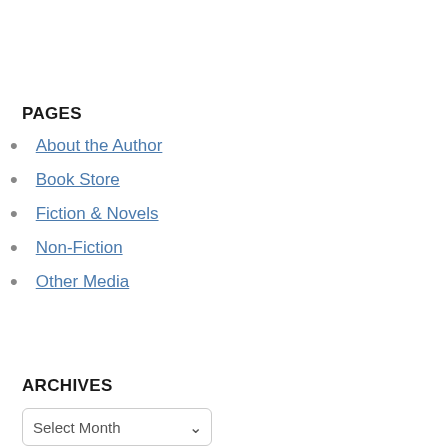PAGES
About the Author
Book Store
Fiction & Novels
Non-Fiction
Other Media
ARCHIVES
Select Month